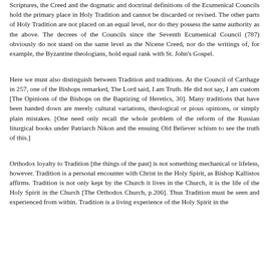Scriptures, the Creed and the dogmatic and doctrinal definitions of the Ecumenical Councils hold the primary place in Holy Tradition and cannot be discarded or revised. The other parts of Holy Tradition are not placed on an equal level, nor do they possess the same authority as the above. The decrees of the Councils since the Seventh Ecumenical Council (787) obviously do not stand on the same level as the Nicene Creed, nor do the writings of, for example, the Byzantine theologians, hold equal rank with St. John's Gospel.
Here we must also distinguish between Tradition and traditions. At the Council of Carthage in 257, one of the Bishops remarked, The Lord said, I am Truth. He did not say, I am custom [The Opinions of the Bishops on the Baptizing of Heretics, 30]. Many traditions that have been handed down are merely cultural variations, theological or pious opinions, or simply plain mistakes. [One need only recall the whole problem of the reform of the Russian liturgical books under Patriarch Nikon and the ensuing Old Believer schism to see the truth of this.]
Orthodox loyalty to Tradition [the things of the past] is not something mechanical or lifeless, however. Tradition is a personal encounter with Christ in the Holy Spirit, as Bishop Kallistos affirms. Tradition is not only kept by the Church it lives in the Church, it is the life of the Holy Spirit in the Church [The Orthodox Church, p.206]. Thus Tradition must be seen and experienced from within. Tradition is a living experience of the Holy Spirit in the